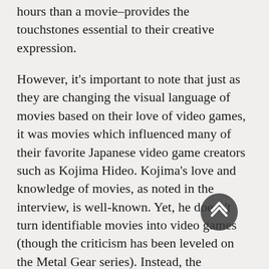hours than a movie–provides the touchstones essential to their creative expression.
However, it's important to note that just as they are changing the visual language of movies based on their love of video games, it was movies which influenced many of their favorite Japanese video game creators such as Kojima Hideo. Kojima's love and knowledge of movies, as noted in the interview, is well-known. Yet, he doesn't turn identifiable movies into video games (though the criticism has been leveled on the Metal Gear series). Instead, the cinematic language informs his decisions about plot, character and thematic development, and obviously production design and camera work. Over the years it has become increasingly apparent games with deeper storylines are becoming the norm, perhaps vindicating Kojima. So, interesting to see how he and other Japanese video game creators have impacted the way directors such as